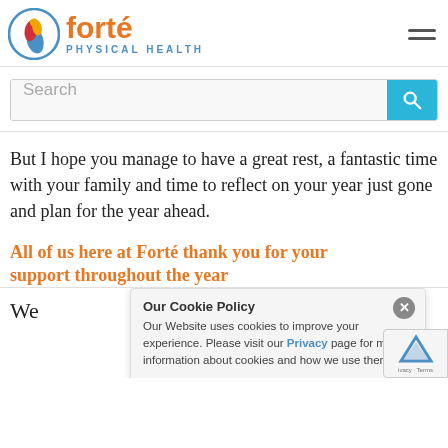[Figure (logo): Forté Physical Health logo with circular emblem and orange/blue text]
Search
But I hope you manage to have a great rest, a fantastic time with your family and time to reflect on your year just gone and plan for the year ahead.
All of us here at Forté thank you for your support throughout the year
We
Our Cookie Policy
Our Website uses cookies to improve your experience. Please visit our Privacy page for more information about cookies and how we use them.